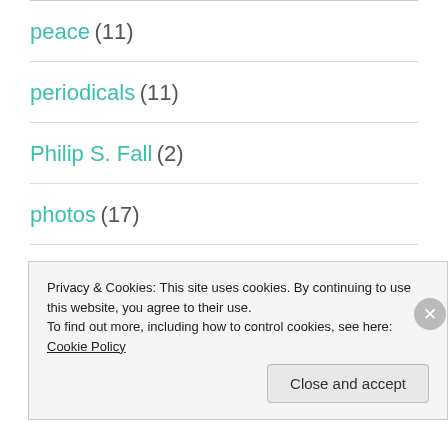peace (11)
periodicals (11)
Philip S. Fall (2)
photos (17)
poetry (2)
politics (1)
Privacy & Cookies: This site uses cookies. By continuing to use this website, you agree to their use.
To find out more, including how to control cookies, see here: Cookie Policy
Close and accept